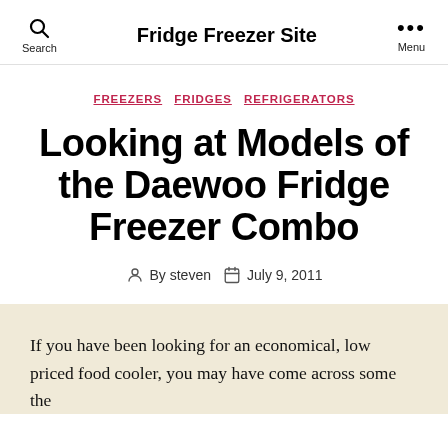Fridge Freezer Site
FREEZERS  FRIDGES  REFRIGERATORS
Looking at Models of the Daewoo Fridge Freezer Combo
By steven  July 9, 2011
If you have been looking for an economical, low priced food cooler, you may have come across some the